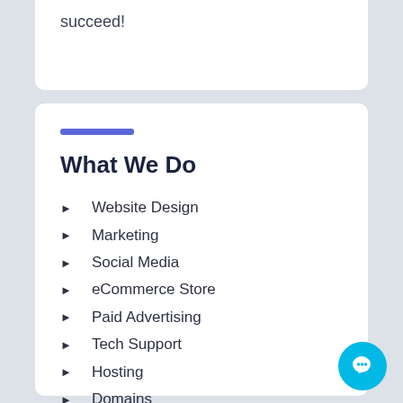succeed!
What We Do
Website Design
Marketing
Social Media
eCommerce Store
Paid Advertising
Tech Support
Hosting
Domains